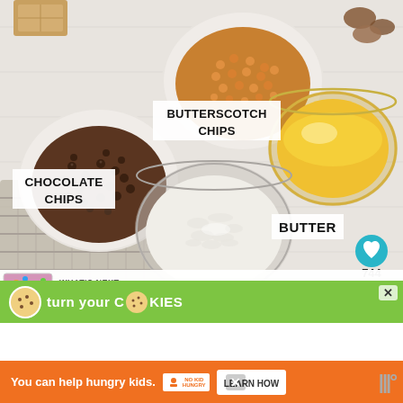[Figure (photo): Overhead photo of baking ingredients in bowls on a white wooden surface: chocolate chips (dark brown, lower left bowl), butterscotch chips (golden, top center bowl), butter (melted yellow, top right glass bowl), shredded coconut (white fluffy, center glass bowl). Labels in white boxes identify each ingredient. A knit cloth is partially visible lower left. Social UI (heart icon teal button, 744 count, share button) on right edge. 'WHAT'S NEXT' bar at bottom with Easy Magic Cookie Bars thumbnail.]
CHOCOLATE CHIPS
BUTTERSCOTCH CHIPS
BUTTER
SHREDDED COCONUT
744
WHAT'S NEXT → Easy Magic Cookie Bars...
[Figure (infographic): Green advertisement banner: 'turn your COOKIES' text with cookie icon replacing letter O, close X button top right]
[Figure (infographic): Orange advertisement banner: 'You can help hungry kids.' with No Kid Hungry logo and LEARN HOW button, close X button]